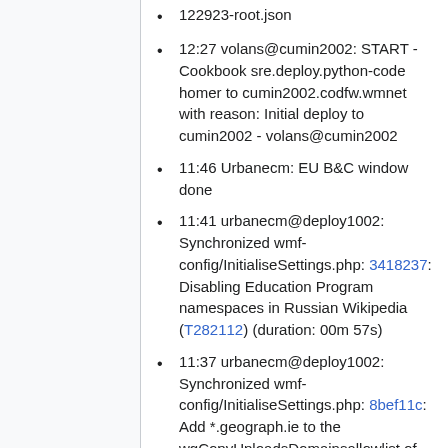122923-root.json
12:27 volans@cumin2002: START - Cookbook sre.deploy.python-code homer to cumin2002.codfw.wmnet with reason: Initial deploy to cumin2002 - volans@cumin2002
11:46 Urbanecm: EU B&C window done
11:41 urbanecm@deploy1002: Synchronized wmf-config/InitialiseSettings.php: 3418237: Disabling Education Program namespaces in Russian Wikipedia (T282112) (duration: 00m 57s)
11:37 urbanecm@deploy1002: Synchronized wmf-config/InitialiseSettings.php: 8bef11c: Add *.geograph.ie to the wgCopyUploadsDomainsallowlist of